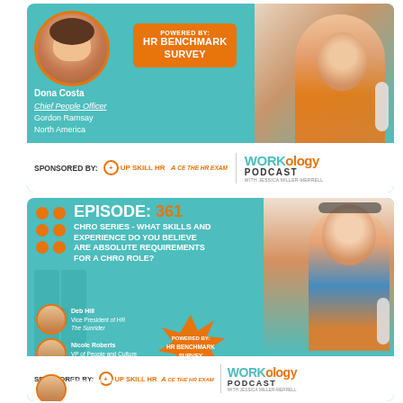[Figure (infographic): Workology Podcast episode card - top. Features Dona Costa, Chief People Officer, Gordon Ramsay North America. Powered by HR Benchmark Survey. Sponsored by Up Skill HR and Ace The HR Exam. Workology Podcast logo visible. Host photo on right.]
[Figure (infographic): Workology Podcast Episode 361 card. CHRO Series - What Skills and Experience Do You Believe Are Absolute Requirements for a CHRO Role? Features guests: Deb Hill VP of HR The Sunrider, Nicole Roberts VP of People and Culture Winter Partners, Paul Gallavin VP of People and Culture Citrix, Helen Gasson VP of People Embassy. Powered by HR Benchmark Survey. Sponsored by Up Skill HR and Ace the HR Exam. Workology Podcast logo.]